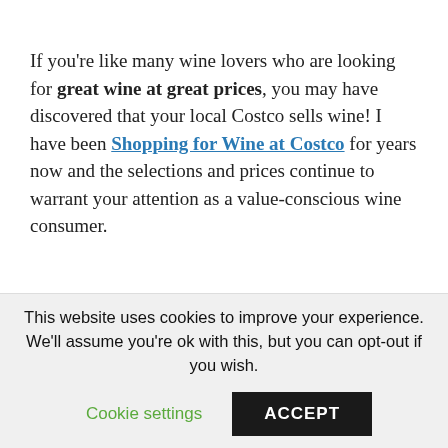If you're like many wine lovers who are looking for great wine at great prices, you may have discovered that your local Costco sells wine! I have been Shopping for Wine at Costco for years now and the selections and prices continue to warrant your attention as a value-conscious wine consumer.
This website uses cookies to improve your experience. We'll assume you're ok with this, but you can opt-out if you wish.
Cookie settings   ACCEPT